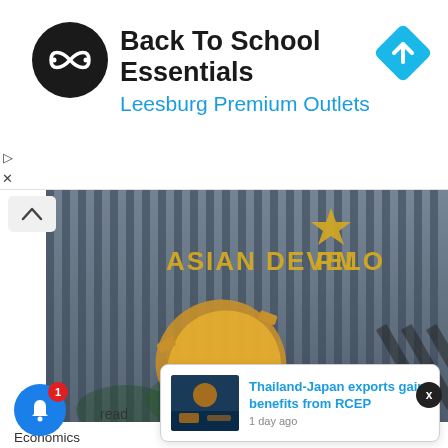[Figure (infographic): Advertisement banner: Back To School Essentials - Leesburg Premium Outlets, with circular black logo showing infinity-like arrows symbol and a blue navigation/directions diamond icon on the right]
[Figure (photo): Photo of the Asian Development Bank building facade showing the ADB sign in gold lettering with a gear/cog emblem, building has vertical metal slats/louvers]
Economics
Tourism Boosts Pacific Economic Outlook, but Climate change, Rising Prices Pose Risks
read
[Figure (infographic): Notification popup card with small port/shipping photo and link text: Thailand-Japan exports gain benefits from RCEP, 1 day ago]